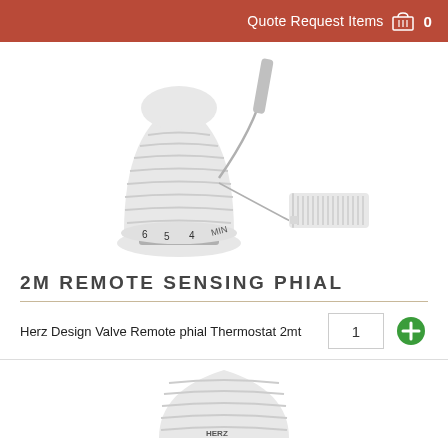Quote Request Items 0
[Figure (photo): Thermostatic radiator valve head with remote sensing phial (2m cable) alongside a small white rectangular sensor/receiver component]
2M REMOTE SENSING PHIAL
Herz Design Valve Remote phial Thermostat 2mt
[Figure (photo): Partial view of a white ribbed thermostatic valve head, bottom of image]